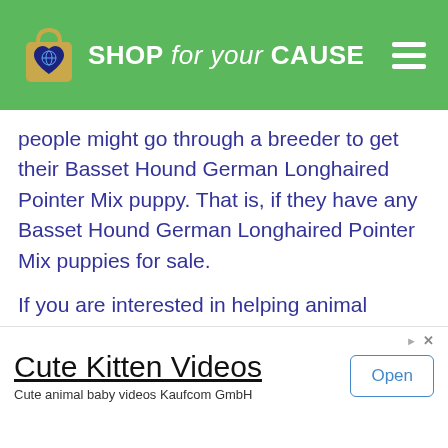SHOP for your CAUSE
people might go through a breeder to get their Basset Hound German Longhaired Pointer Mix puppy. That is, if they have any Basset Hound German Longhaired Pointer Mix puppies for sale.
If you are interested in helping animal rescues raise money, please play our quiz. Each correct answer donates to help feed shelter animals.
Click below to play our quiz
[Figure (screenshot): Advertisement banner for Cute Kitten Videos by Kaufcom GmbH with an Open button]